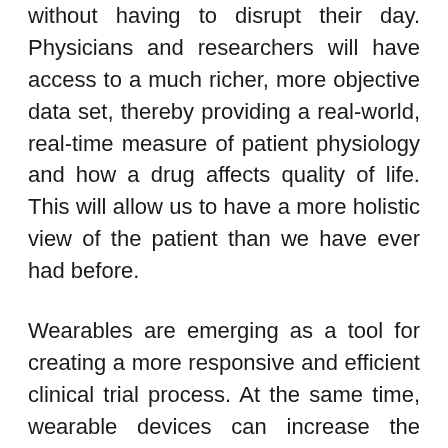without having to disrupt their day. Physicians and researchers will have access to a much richer, more objective data set, thereby providing a real-world, real-time measure of patient physiology and how a drug affects quality of life. This will allow us to have a more holistic view of the patient than we have ever had before.
Wearables are emerging as a tool for creating a more responsive and efficient clinical trial process. At the same time, wearable devices can increase the volume and speed of data collection through a more seamless collection of large quantities of longitudinal physiological measurement data. This